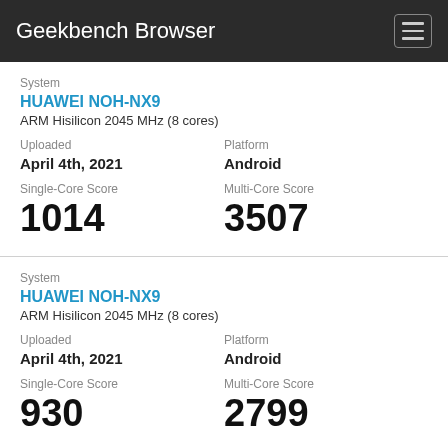Geekbench Browser
System
HUAWEI NOH-NX9
ARM Hisilicon 2045 MHz (8 cores)
Uploaded: April 4th, 2021
Platform: Android
Single-Core Score: 1014
Multi-Core Score: 3507
System
HUAWEI NOH-NX9
ARM Hisilicon 2045 MHz (8 cores)
Uploaded: April 4th, 2021
Platform: Android
Single-Core Score: 930
Multi-Core Score: 2799